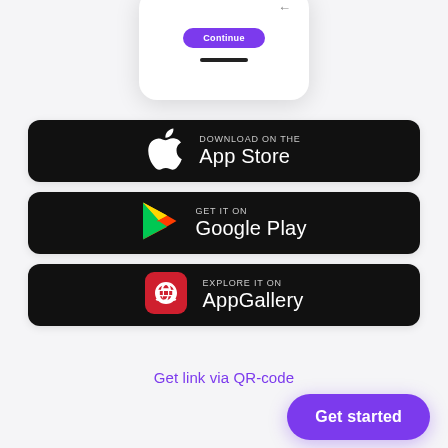[Figure (screenshot): Partial phone/app screenshot showing a purple Continue button and a black home bar at the bottom of a white rounded device frame]
[Figure (logo): Download on the App Store button - black rounded rectangle with Apple logo and text]
[Figure (logo): GET IT ON Google Play button - black rounded rectangle with Google Play triangle logo and text]
[Figure (logo): EXPLORE IT ON AppGallery button - black rounded rectangle with Huawei red square logo and text]
Get link via QR-code
Get started